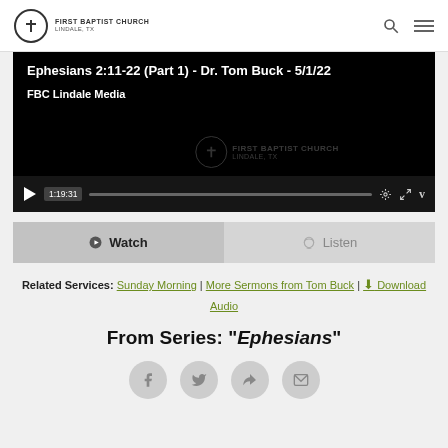First Baptist Church Lindale, TX
[Figure (screenshot): Video player showing sermon titled 'Ephesians 2:11-22 (Part 1) - Dr. Tom Buck - 5/1/22' on FBC Lindale Media channel, with playback controls showing time 1:19:31]
Watch  |  Listen
Related Services: Sunday Morning | More Sermons from Tom Buck | Download Audio
From Series: "Ephesians"
[Figure (infographic): Social share buttons: Facebook, Twitter, Share, Email]